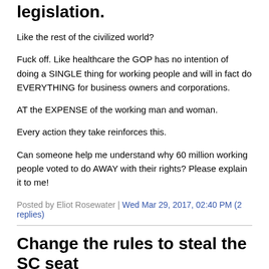legislation.
Like the rest of the civilized world?
Fuck off. Like healthcare the GOP has no intention of doing a SINGLE thing for working people and will in fact do EVERYTHING for business owners and corporations.
AT the EXPENSE of the working man and woman.
Every action they take reinforces this.
Can someone help me understand why 60 million working people voted to do AWAY with their rights? Please explain it to me!
Posted by Eliot Rosewater | Wed Mar 29, 2017, 02:40 PM (2 replies)
Change the rules to steal the SC seat
is an act that is unacceptable, to me.
The people elected Obama, Obama appointed a justice.
What the GOP is doing is the most undemocratic thing I have ever heard of.